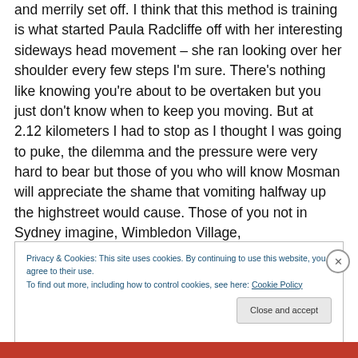and merrily set off.  I think that this method is training is what started Paula Radcliffe off with her interesting sideways head movement – she ran looking over her shoulder every few steps I'm sure.  There's nothing like knowing you're about to be overtaken but you just don't know when to keep you moving.  But at 2.12 kilometers I had to stop as I thought I was going to puke, the dilemma and the pressure were very hard to bear but those of you who will know Mosman will appreciate the shame that vomiting halfway up the highstreet would cause.  Those of you not in Sydney imagine, Wimbledon Village,
Privacy & Cookies: This site uses cookies. By continuing to use this website, you agree to their use.
To find out more, including how to control cookies, see here: Cookie Policy